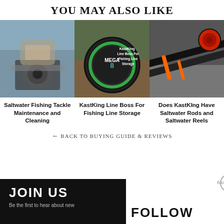You May Also Like
[Figure (photo): Person holding a fishing reel/baitcasting reel outdoors near water]
[Figure (photo): KastKing Mega 8 fishing line spool on wooden surface with overlay text: KastKing Line Boss For Fishing Line Storage]
[Figure (photo): Two KastKing fishing rods and reels laid on pavement - black/orange/red color scheme]
Saltwater Fishing Tackle Maintenance and Cleaning
KastKing Line Boss For Fishing Line Storage
Does KastKIng Have Saltwater Rods and Saltwater Reels
← Back to Buying Guide & Reviews
JOIN US
Be the first to hear about new
FOLLOW
Back to the top